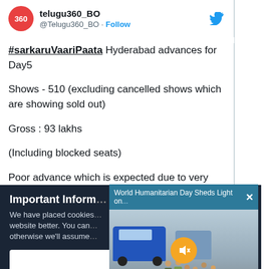[Figure (screenshot): Twitter/X account header: Telugu360_BO logo (red circle with '360'), account name 'telugu360_BO', handle '@Telugu360_BO · Follow', Twitter bird icon]
#sarkaruVaariPaata Hyderabad advances for Day5

Shows - 510 (excluding cancelled shows which are showing sold out)

Gross : 93 lakhs

(Including blocked seats)

Poor advance which is expected due to very high ticket rights
[Figure (screenshot): Cookie consent banner overlay: 'Important Inform...' title, text about cookies, partially obscured by video popup]
[Figure (screenshot): Video popup overlay: 'World Humanitarian Day Sheds Light on...' header in teal, close X button, video thumbnail showing children near a blue van with mute button overlay]